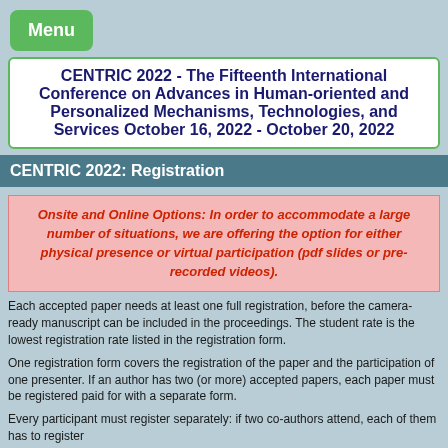[Figure (other): Green Menu button]
CENTRIC 2022 - The Fifteenth International Conference on Advances in Human-oriented and Personalized Mechanisms, Technologies, and Services
October 16, 2022 - October 20, 2022
CENTRIC 2022: Registration
Onsite and Online Options: In order to accommodate a large number of situations, we are offering the option for either physical presence or virtual participation (pdf slides or pre-recorded videos).
Each accepted paper needs at least one full registration, before the camera-ready manuscript can be included in the proceedings. The student rate is the lowest registration rate listed in the registration form.
One registration form covers the registration of the paper and the participation of one presenter. If an author has two (or more) accepted papers, each paper must be registered paid for with a separate form.
Every participant must register separately: if two co-authors attend, each of them has to register
Support letters for entry visa will only be issued to attendees who have successfully paid their registration fees in full.
Registration form (please make sure you follow the correct link):